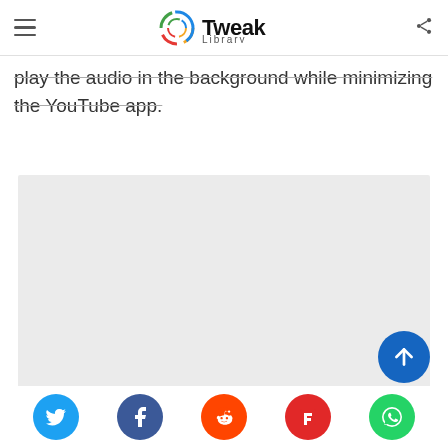Tweak Library
play the audio in the background while minimizing the YouTube app.
[Figure (other): Grey placeholder image area]
Social share bar: Twitter, Facebook, Reddit, Flipboard, WhatsApp